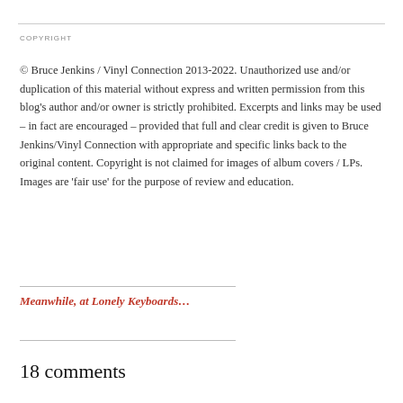COPYRIGHT
© Bruce Jenkins / Vinyl Connection 2013-2022. Unauthorized use and/or duplication of this material without express and written permission from this blog's author and/or owner is strictly prohibited. Excerpts and links may be used – in fact are encouraged – provided that full and clear credit is given to Bruce Jenkins/Vinyl Connection with appropriate and specific links back to the original content. Copyright is not claimed for images of album covers / LPs. Images are 'fair use' for the purpose of review and education.
Meanwhile, at Lonely Keyboards…
18 comments